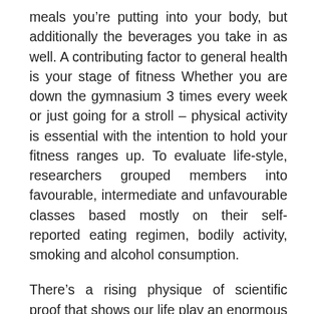meals you're putting into your body, but additionally the beverages you take in as well. A contributing factor to general health is your stage of fitness Whether you are down the gymnasium 3 times every week or just going for a stroll – physical activity is essential with the intention to hold your fitness ranges up. To evaluate life-style, researchers grouped members into favourable, intermediate and unfavourable classes based mostly on their self-reported eating regimen, bodily activity, smoking and alcohol consumption.
There's a rising physique of scientific proof that shows our life play an enormous part in how wholesome we're. Well being foods include green greens, fruits, whole grain wheat and seafood like